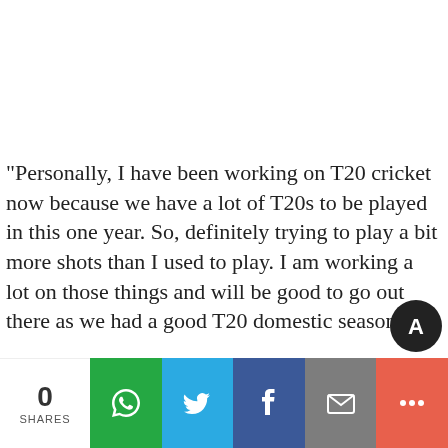"Personally, I have been working on T20 cricket now because we have a lot of T20s to be played in this one year. So, definitely trying to play a bit more shots than I used to play. I am working a lot on those things and will be good to go out there as we had a good T20 domestic season…st
0 SHARES | Share buttons: WhatsApp, Twitter, Facebook, Email, More